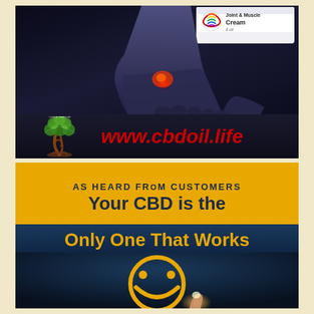[Figure (photo): Advertisement for That's Natural CBD Joint & Muscle Cream featuring a foot/ankle with red pain highlight, That's Natural logo (tree with swirling trunk), and red italic text www.cbdoil.life on dark background]
[Figure (infographic): Advertisement with yellow banner reading 'AS HEARD FROM CUSTOMERS' and bold text 'Your CBD is the Only One That Works' with yellow smiley face icon with finger touching it, on dark blue gradient background]